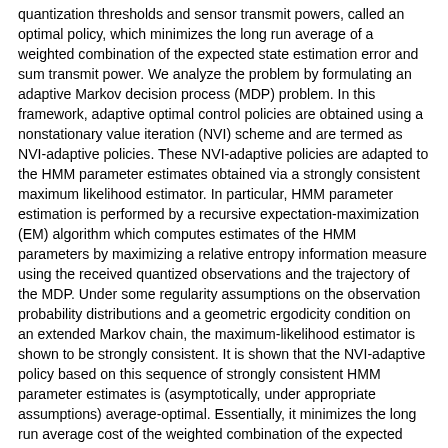quantization thresholds and sensor transmit powers, called an optimal policy, which minimizes the long run average of a weighted combination of the expected state estimation error and sum transmit power. We analyze the problem by formulating an adaptive Markov decision process (MDP) problem. In this framework, adaptive optimal control policies are obtained using a nonstationary value iteration (NVI) scheme and are termed as NVI-adaptive policies. These NVI-adaptive policies are adapted to the HMM parameter estimates obtained via a strongly consistent maximum likelihood estimator. In particular, HMM parameter estimation is performed by a recursive expectation-maximization (EM) algorithm which computes estimates of the HMM parameters by maximizing a relative entropy information measure using the received quantized observations and the trajectory of the MDP. Under some regularity assumptions on the observation probability distributions and a geometric ergodicity condition on an extended Markov chain, the maximum-likelihood estimator is shown to be strongly consistent. It is shown that the NVI-adaptive policy based on this sequence of strongly consistent HMM parameter estimates is (asymptotically, under appropriate assumptions) average-optimal. Essentially, it minimizes the long run average cost of the weighted combination of the expected state estimation error and sum transmit power across the sensors for the HMM with true parameters in a time-asymptotic sense. The advantage of this scheme is that the policies are obtained recursively without the need to solve the Bellman equation at each time step, which can be computationally prohibitive. As is usual with value iteration schemes, practical implementation of the NVI-adaptive policy requires discretization of the state and action